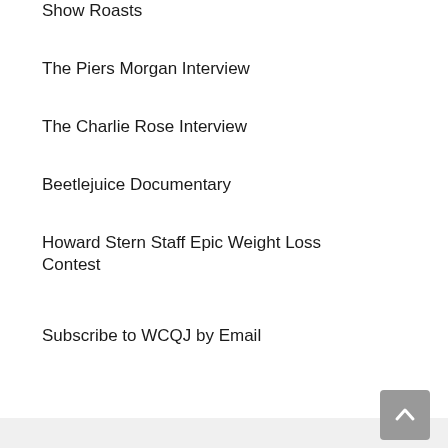Show Roasts
The Piers Morgan Interview
The Charlie Rose Interview
Beetlejuice Documentary
Howard Stern Staff Epic Weight Loss Contest
Subscribe to WCQJ by Email